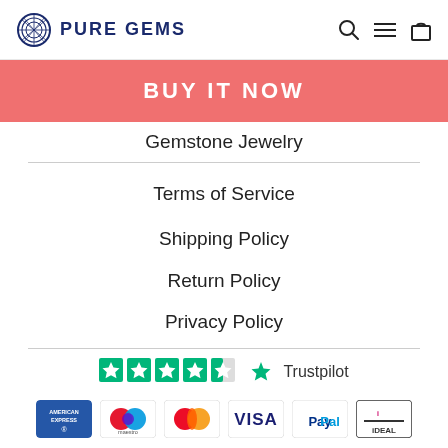PURE GEMS
[Figure (logo): Pure Gems logo with geometric gem icon]
BUY IT NOW
Gemstone Necklaces
Gemstone Jewelry
Terms of Service
Shipping Policy
Return Policy
Privacy Policy
[Figure (logo): Trustpilot rating - 4.5 stars]
[Figure (infographic): Payment method icons: American Express, Maestro, Mastercard, Visa, PayPal, iDEAL]